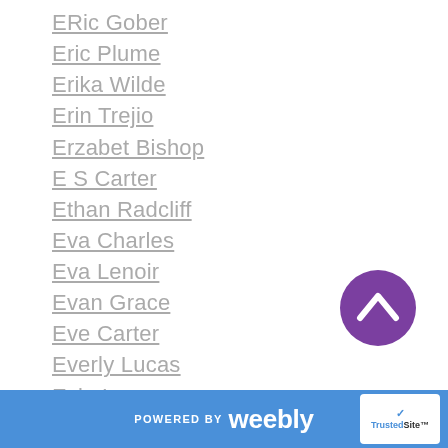ERic Gober
Eric Plume
Erika Wilde
Erin Trejio
Erzabet Bishop
E S Carter
Ethan Radcliff
Eva Charles
Eva Lenoir
Evan Grace
Eve Carter
Everly Lucas
Evie Lauren
Faith Andrews
Faith Gibson
Felica Stevens
Felice Stevens
[Figure (other): Purple circular scroll-to-top button with upward chevron arrow]
POWERED BY weebly | TrustedSite